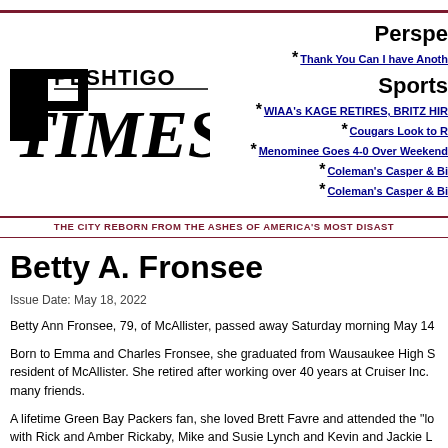[Figure (logo): Peshtigo Times newspaper logo in black bold serif/italic font]
Perspe
* Thank You Can I have Anoth
Sports
* WIAA's KAGE RETIRES, BRITZ HIR
* Cougars Look to R
* Menominee Goes 4-0 Over Weekend
* Coleman's Casper & Bi
* Coleman's Casper & Bi
THE CITY REBORN FROM THE ASHES OF AMERICA'S MOST DISAST
Betty A. Fronsee
Issue Date: May 18, 2022
Betty Ann Fronsee, 79, of McAllister, passed away Saturday morning May 14
Born to Emma and Charles Fronsee, she graduated from Wausaukee High S resident of McAllister. She retired after working over 40 years at Cruiser Inc. many friends.
A lifetime Green Bay Packers fan, she loved Brett Favre and attended the "lo with Rick and Amber Rickaby, Mike and Susie Lynch and Kevin and Jackie L